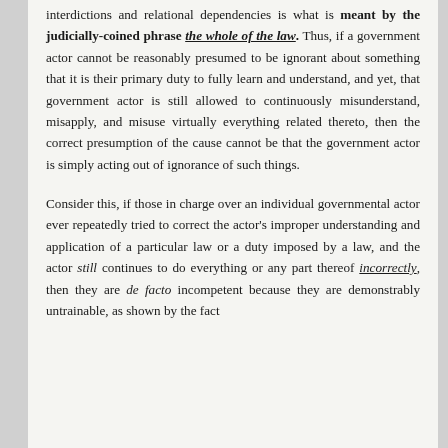interdictions and relational dependencies is what is meant by the judicially-coined phrase the whole of the law. Thus, if a government actor cannot be reasonably presumed to be ignorant about something that it is their primary duty to fully learn and understand, and yet, that government actor is still allowed to continuously misunderstand, misapply, and misuse virtually everything related thereto, then the correct presumption of the cause cannot be that the government actor is simply acting out of ignorance of such things.
Consider this, if those in charge over an individual governmental actor ever repeatedly tried to correct the actor's improper understanding and application of a particular law or a duty imposed by a law, and the actor still continues to do everything or any part thereof incorrectly, then they are de facto incompetent because they are demonstrably untrainable, as shown by the fact